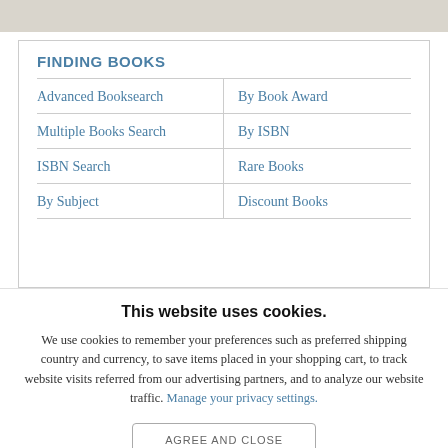[Figure (screenshot): Gray top banner strip]
FINDING BOOKS
Advanced Booksearch
By Book Award
Multiple Books Search
By ISBN
ISBN Search
Rare Books
By Subject
Discount Books
This website uses cookies.
We use cookies to remember your preferences such as preferred shipping country and currency, to save items placed in your shopping cart, to track website visits referred from our advertising partners, and to analyze our website traffic. Manage your privacy settings.
AGREE AND CLOSE